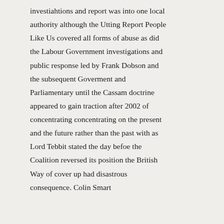investiahtions and report was into one local authority although the Utting Report People Like Us covered all forms of abuse as did the Labour Government investigations and public response led by Frank Dobson and the subsequent Goverment and Parliamentary until the Cassam doctrine appeared to gain traction after 2002 of concentrating concentrating on the present and the future rather than the past with as Lord Tebbit stated the day befoe the Coalition reversed its position the British Way of cover up had disastrous consequence. Colin Smart